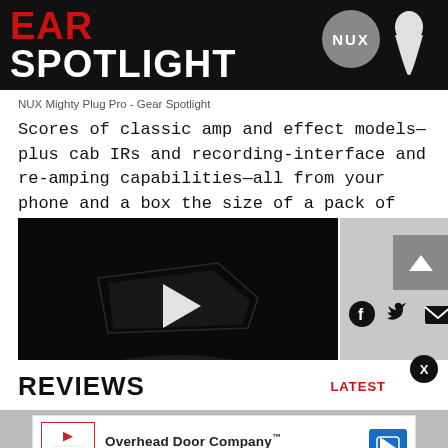GEAR SPOTLIGHT
[Figure (screenshot): NUX branded guitar pick and logo on dark background banner]
NUX Mighty Plug Pro - Gear Spotlight
Scores of classic amp and effect models—plus cab IRs and recording-interface and re-amping capabilities—all from your phone and a box the size of a pack of gum.
[Figure (screenshot): Dark video thumbnail of NUX Mighty Plug Pro device with play button overlay. Social share icons (Facebook, Twitter, Email) to the right.]
REVIEWS
LATEST
[Figure (other): Advertisement banner for Overhead Door Company with logo, text and navigation icon]